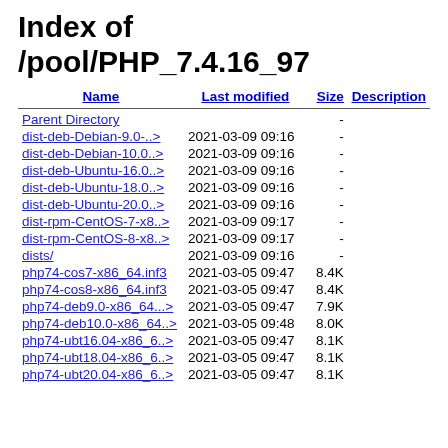Index of /pool/PHP_7.4.16_97
| Name | Last modified | Size | Description |
| --- | --- | --- | --- |
| Parent Directory |  | - |  |
| dist-deb-Debian-9.0-..> | 2021-03-09 09:16 | - |  |
| dist-deb-Debian-10.0..> | 2021-03-09 09:16 | - |  |
| dist-deb-Ubuntu-16.0..> | 2021-03-09 09:16 | - |  |
| dist-deb-Ubuntu-18.0..> | 2021-03-09 09:16 | - |  |
| dist-deb-Ubuntu-20.0..> | 2021-03-09 09:16 | - |  |
| dist-rpm-CentOS-7-x8..> | 2021-03-09 09:17 | - |  |
| dist-rpm-CentOS-8-x8..> | 2021-03-09 09:17 | - |  |
| dists/ | 2021-03-09 09:16 | - |  |
| php74-cos7-x86_64.inf3 | 2021-03-05 09:47 | 8.4K |  |
| php74-cos8-x86_64.inf3 | 2021-03-05 09:47 | 8.4K |  |
| php74-deb9.0-x86_64...> | 2021-03-05 09:47 | 7.9K |  |
| php74-deb10.0-x86_64..> | 2021-03-05 09:48 | 8.0K |  |
| php74-ubt16.04-x86_6..> | 2021-03-05 09:47 | 8.1K |  |
| php74-ubt18.04-x86_6..> | 2021-03-05 09:47 | 8.1K |  |
| php74-ubt20.04-x86_6..> | 2021-03-05 09:47 | 8.1K |  |